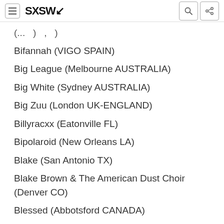SXSW
Bifannah (VIGO SPAIN)
Big League (Melbourne AUSTRALIA)
Big White (Sydney AUSTRALIA)
Big Zuu (London UK-ENGLAND)
Billyracxx (Eatonville FL)
Bipolaroid (New Orleans LA)
Blake (San Antonio TX)
Blake Brown & The American Dust Choir (Denver CO)
Blessed (Abbotsford CANADA)
Blue Water Highway (Austin TX)
Bobi Andonov (Melbourne WA)
Boggie (Budapest HUNGARY)